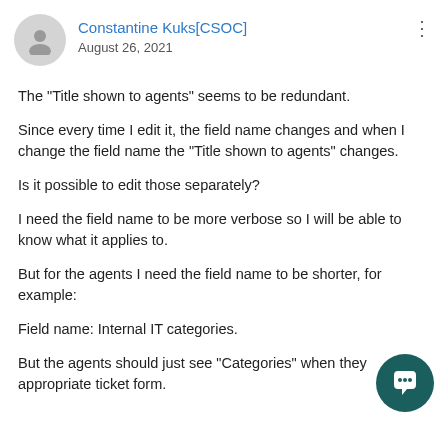Constantine Kuks[CSOC]
August 26, 2021
The "Title shown to agents" seems to be redundant.
Since every time I edit it, the field name changes and when I change the field name the "Title shown to agents" changes.
Is it possible to edit those separately?
I need the field name to be more verbose so I will be able to know what it applies to.
But for the agents I need the field name to be shorter, for example:
Field name: Internal IT categories.
But the agents should just see "Categories" when they fill the appropriate ticket form.
[Figure (illustration): Dark teal circular chat button icon in the bottom-right corner]